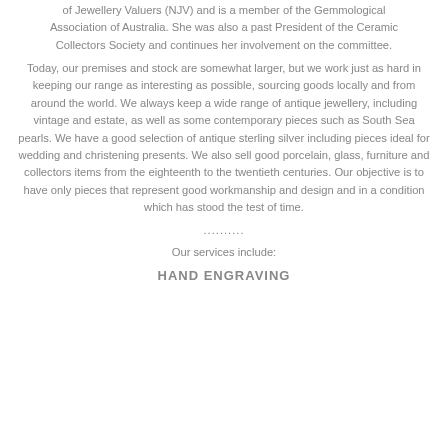of Jewellery Valuers (NJV) and is a member of the Gemmological Association of Australia. She was also a past President of the Ceramic Collectors Society and continues her involvement on the committee.
Today, our premises and stock are somewhat larger, but we work just as hard in keeping our range as interesting as possible, sourcing goods locally and from around the world. We always keep a wide range of antique jewellery, including vintage and estate, as well as some contemporary pieces such as South Sea pearls. We have a good selection of antique sterling silver including pieces ideal for wedding and christening presents. We also sell good porcelain, glass, furniture and collectors items from the eighteenth to the twentieth centuries. Our objective is to have only pieces that represent good workmanship and design and in a condition which has stood the test of time.
..........
Our services include:
HAND ENGRAVING